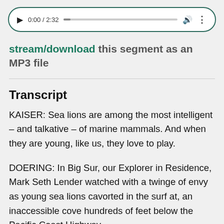[Figure (screenshot): Audio player widget showing playback controls: play button, time display 0:00 / 2:32, progress bar, volume icon, and more-options icon. Styled with white background, rounded corners, and teal/dark-green border.]
stream/download this segment as an MP3 file
Transcript
KAISER: Sea lions are among the most intelligent – and talkative – of marine mammals. And when they are young, like us, they love to play.
DOERING: In Big Sur, our Explorer in Residence, Mark Seth Lender watched with a twinge of envy as young sea lions cavorted in the surf at, an inaccessible cove hundreds of feet below the Pacific Coast Highway.
LENDER: The sea lions played in the arms of the sea and